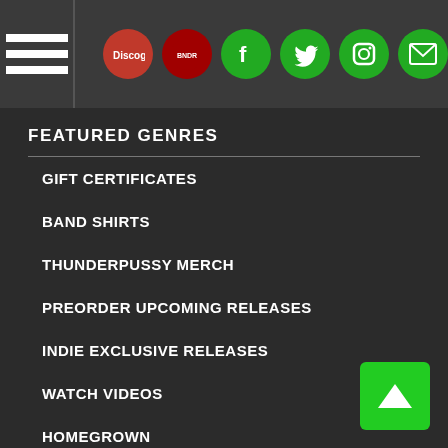Navigation header with hamburger menu and social icons: Discogs, Band, Facebook, Twitter, Instagram, Email
FEATURED GENRES
GIFT CERTIFICATES
BAND SHIRTS
THUNDERPUSSY MERCH
PREORDER UPCOMING RELEASES
INDIE EXCLUSIVE RELEASES
WATCH VIDEOS
HOMEGROWN
INDIE FRESH